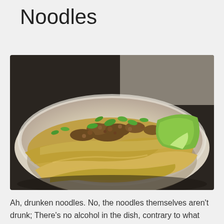Noodles
[Figure (photo): A white bowl filled with wide flat noodles (pad see ew or drunken noodles style), topped with ground meat and green vegetables (bok choy and green onions), photographed close-up on a light surface.]
Ah, drunken noodles. No, the noodles themselves aren't drunk; There's no alcohol in the dish, contrary to what you may be thinking. Instead, the name refers to the state people are often in when they're eating these noodles. What drunk doesn't love